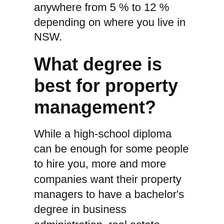anywhere from 5% to 12% depending on where you live in NSW.
What degree is best for property management?
While a high-school diploma can be enough for some people to hire you, more and more companies want their property managers to have a bachelor's degree in business administration, real estate, accounting, public administration, or finance.
[Figure (infographic): Teal call-to-action box with text 'IT IS INTERESTING: How hard is the Wyoming real estate exam?' with a right-arrow chevron on the right side in a darker teal panel.]
Are property managers